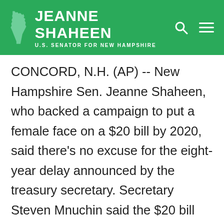JEANNE SHAHEEN – U.S. SENATOR FOR NEW HAMPSHIRE
CONCORD, N.H. (AP) -- New Hampshire Sen. Jeanne Shaheen, who backed a campaign to put a female face on a $20 bill by 2020, said there's no excuse for the eight-year delay announced by the treasury secretary. Secretary Steven Mnuchin said the $20 bill redesign featuring Harriet Tubman won't meet the 2020 deadline, and will instead be delayed until 2028. He said that other